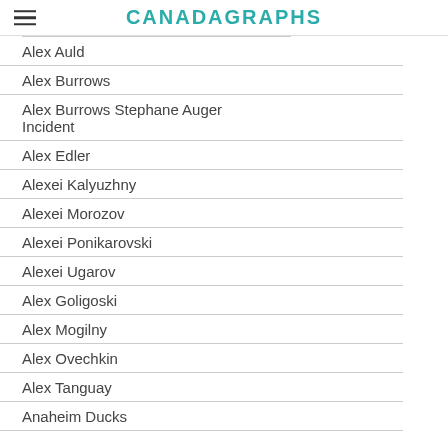CANADAGRAPHS
Alex Auld
Alex Burrows
Alex Burrows Stephane Auger Incident
Alex Edler
Alexei Kalyuzhny
Alexei Morozov
Alexei Ponikarovski
Alexei Ugarov
Alex Goligoski
Alex Mogilny
Alex Ovechkin
Alex Tanguay
Anaheim Ducks